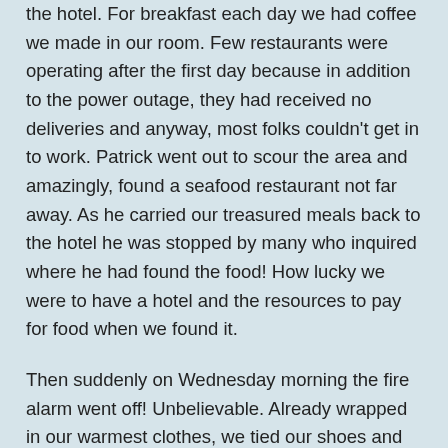the hotel. For breakfast each day we had coffee we made in our room. Few restaurants were operating after the first day because in addition to the power outage, they had received no deliveries and anyway, most folks couldn't get in to work. Patrick went out to scour the area and amazingly, found a seafood restaurant not far away. As he carried our treasured meals back to the hotel he was stopped by many who inquired where he had found the food! How lucky we were to have a hotel and the resources to pay for food when we found it.
Then suddenly on Wednesday morning the fire alarm went off! Unbelievable. Already wrapped in our warmest clothes, we tied our shoes and headed out the door. Right next to our room were the stairs. As we headed that way, the housekeeper stopped us saying, “No, no! Don’t go that way! The stairs aren't safe!” Then she went on to explain she was sure it was a